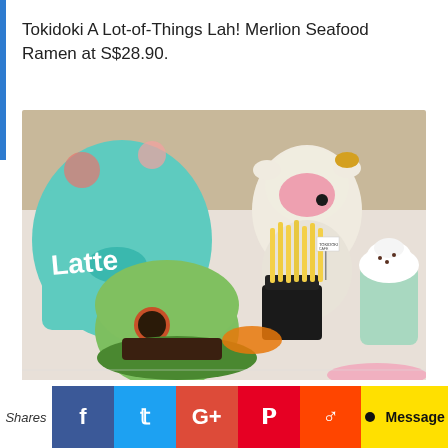Tokidoki A Lot-of-Things Lah! Merlion Seafood Ramen at S$28.90.
[Figure (photo): Food photo showing a green bun burger, french fries in a black cup with a small menu card, a milkshake with whipped cream, a tokidoki character figurine, a Latte-branded tote bag, and a pink plate, arranged on a table.]
Shares | Facebook | Twitter | Google+ | Pinterest | Reddit | Message